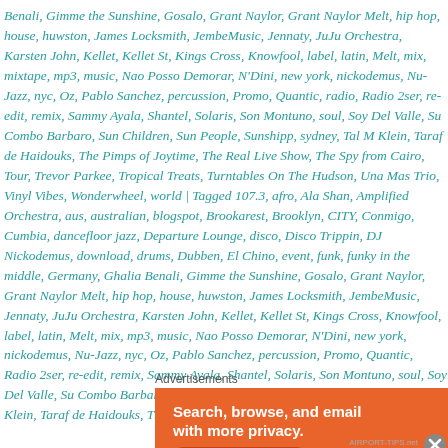Benali, Gimme the Sunshine, Gosalo, Grant Naylor, Grant Naylor Melt, hip hop, house, huwston, James Locksmith, JembeMusic, Jennaty, JuJu Orchestra, Karsten John, Kellet, Kellet St, Kings Cross, Knowfool, label, latin, Melt, mix, mixtape, mp3, music, Nao Posso Demorar, N'Dini, new york, nickodemus, Nu-Jazz, nyc, Oz, Pablo Sanchez, percussion, Promo, Quantic, radio, Radio 2ser, re-edit, remix, Sammy Ayala, Shantel, Solaris, Son Montuno, soul, Soy Del Valle, Su Combo Barbaro, Sun Children, Sun People, Sunshipp, sydney, Tal M Klein, Taraf de Haidouks, The Pimps of Joytime, The Real Live Show, The Spy from Cairo, Tour, Trevor Parkee, Tropical Treats, Turntables On The Hudson, Una Mas Trio, Vinyl Vibes, Wonderwheel, world | Tagged 107.3, afro, Ala Shan, Amplified Orchestra, aus, australian, blogspot, Brookarest, Brooklyn, CITY, Conmigo, Cumbia, dancefloor jazz, Departure Lounge, disco, Disco Trippin, DJ Nickodemus, download, drums, Dubben, El Chino, event, funk, funky in the middle, Germany, Ghalia Benali, Gimme the Sunshine, Gosalo, Grant Naylor, Grant Naylor Melt, hip hop, house, huwston, James Locksmith, JembeMusic, Jennaty, JuJu Orchestra, Karsten John, Kellet, Kellet St, Kings Cross, Knowfool, label, latin, Melt, mix, mp3, music, Nao Posso Demorar, N'Dini, new york, nickodemus, Nu-Jazz, nyc, Oz, Pablo Sanchez, percussion, Promo, Quantic, Radio 2ser, re-edit, remix, Sammy Ayala, Shantel, Solaris, Son Montuno, soul, Soy Del Valle, Su Combo Barbaro, Sun Children, Sun People, Sunshipp, sydney, Tal M Klein, Taraf de Haidouks, The Pimps of Joytime
Advertisements
[Figure (other): DuckDuckGo advertisement banner with orange background. Text reads: Search, browse, and email with more privacy. All in One Free App. DuckDuckGo logo on right side with teal background.]